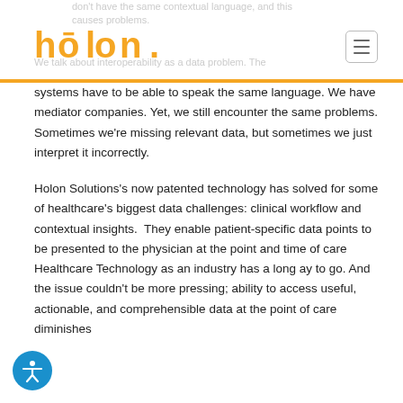don't have the same contextual language, and this causes problems.
[Figure (logo): Holon logo in orange with stylized 'holon.' text]
We talk about interoperability as a data problem. The systems have to be able to speak the same language. We have mediator companies. Yet, we still encounter the same problems. Sometimes we’re missing relevant data, but sometimes we just interpret it incorrectly.
Holon Solutions’s now patented technology has solved for some of healthcare’s biggest data challenges: clinical workflow and contextual insights. They enable patient-specific data points to be presented to the physician at the point and time of care Healthcare Technology as an industry has a long ay to go. And the issue couldn’t be more pressing; ability to access useful, actionable, and comprehensible data at the point of care diminishes